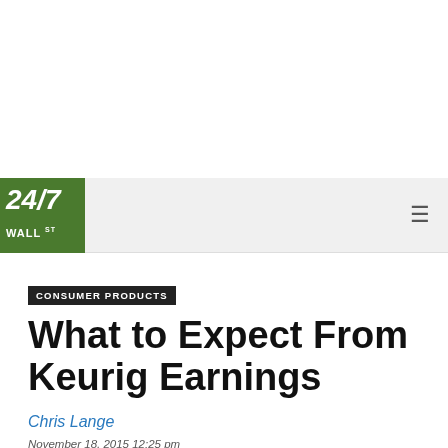[Figure (logo): 24/7 Wall St. logo — green square background with white bold italic '24/7' text and 'WALL ST' below]
CONSUMER PRODUCTS
What to Expect From Keurig Earnings
Chris Lange
November 18, 2015 12:25 pm
Last Updated: January 13, 2020 5:03 pm